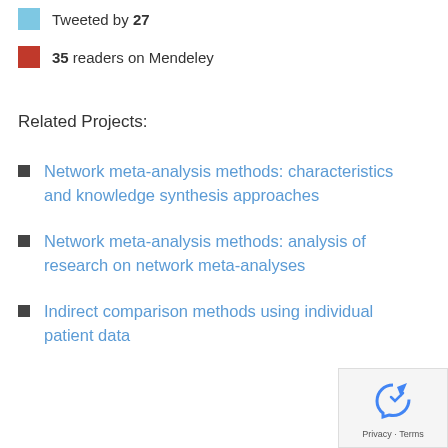Tweeted by 27
35 readers on Mendeley
Related Projects:
Network meta-analysis methods: characteristics and knowledge synthesis approaches
Network meta-analysis methods: analysis of research on network meta-analyses
Indirect comparison methods using individual patient data